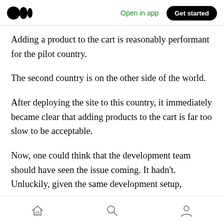Medium — Open in app   Get started
Adding a product to the cart is reasonably performant for the pilot country.
The second country is on the other side of the world.
After deploying the site to this country, it immediately became clear that adding products to the cart is far too slow to be acceptable.
Now, one could think that the development team should have seen the issue coming. It hadn't. Unluckily, given the same development setup,
Home   Search   Profile